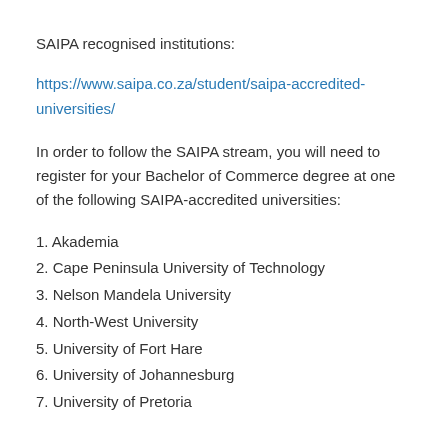SAIPA recognised institutions:
https://www.saipa.co.za/student/saipa-accredited-universities/
In order to follow the SAIPA stream, you will need to register for your Bachelor of Commerce degree at one of the following SAIPA-accredited universities:
1. Akademia
2. Cape Peninsula University of Technology
3. Nelson Mandela University
4. North-West University
5. University of Fort Hare
6. University of Johannesburg
7. University of Pretoria